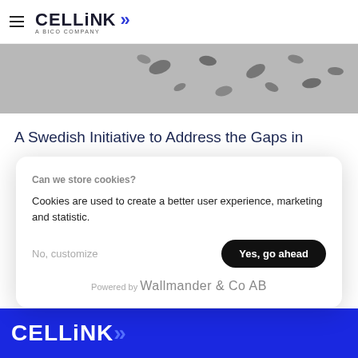CELLiNK >> A BICO COMPANY
[Figure (photo): Grayscale microscopy image showing scattered dark oval/elongated shapes (likely cells or biological material) on a light grey background]
A Swedish Initiative to Address the Gaps in
Can we store cookies?
Cookies are used to create a better user experience, marketing and statistic.

No, customize   Yes, go ahead

Powered by Wallmander & Co AB
CELLiNK >>